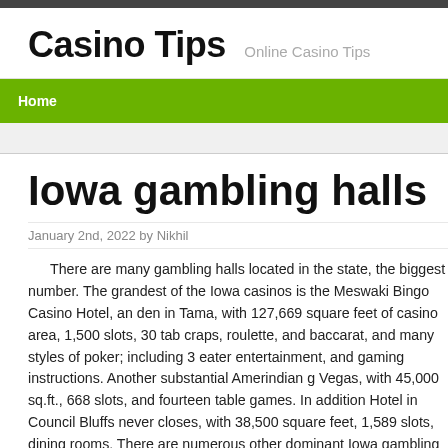Casino Tips  Online Casino Tips
Home
Iowa gambling halls
January 2nd, 2022 by Nikhil
There are many gambling halls located in the state, the biggest number. The grandest of the Iowa casinos is the Meswaki Bingo Casino Hotel, an den in Tama, with 127,669 square feet of casino area, 1,500 slots, 30 tab craps, roulette, and baccarat, and many styles of poker; including 3 eater entertainment, and gaming instructions. Another substantial Amerindian g Vegas, with 45,000 sq.ft., 668 slots, and fourteen table games. In addition Hotel in Council Bluffs never closes, with 38,500 square feet, 1,589 slots, dining rooms. There are numerous other dominant Iowa gambling halls, w